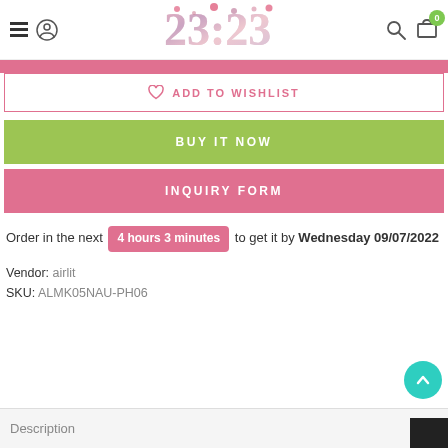23:23 store header with navigation icons
ADD TO WISHLIST
BUY IT NOW
INQUIRY FORM
Order in the next 4 hours 3 minutes to get it by Wednesday 09/07/2022
Vendor: airlit
SKU: ALMK05NAU-PH06
Description